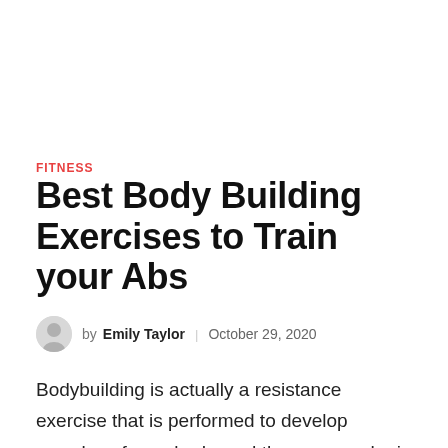FITNESS
Best Body Building Exercises to Train your Abs
by Emily Taylor  |  October 29, 2020
Bodybuilding is actually a resistance exercise that is performed to develop muscles of your body, and the person who is engaged in this activity is called a